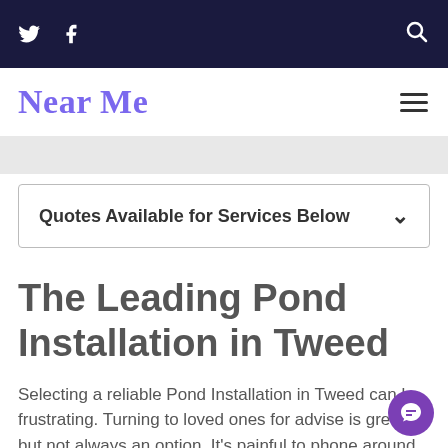Twitter, Facebook, Search icons navigation bar
Near Me
[Figure (screenshot): Gray advertisement/banner strip]
Quotes Available for Services Below
The Leading Pond Installation in Tweed
Selecting a reliable Pond Installation in Tweed can be frustrating. Turning to loved ones for advise is great but not always an option. It's painful to phone around and